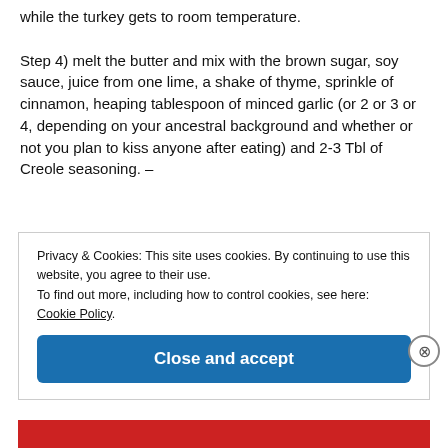while the turkey gets to room temperature.

Step 4) melt the butter and mix with the brown sugar, soy sauce, juice from one lime, a shake of thyme, sprinkle of cinnamon, heaping tablespoon of minced garlic (or 2 or 3 or 4, depending on your ancestral background and whether or not you plan to kiss anyone after eating) and 2-3 Tbl of Creole seasoning. –
Privacy & Cookies: This site uses cookies. By continuing to use this website, you agree to their use.
To find out more, including how to control cookies, see here: Cookie Policy
Close and accept